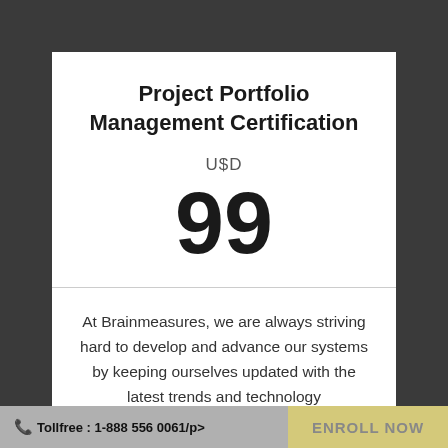Project Portfolio Management Certification
U$D
99
At Brainmeasures, we are always striving hard to develop and advance our systems by keeping ourselves updated with the latest trends and technology
Tollfree : 1-888 556 0061/p>  ENROLL NOW